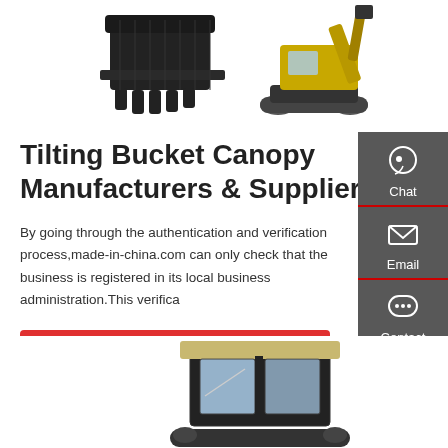[Figure (photo): Two construction equipment images at top: a large excavator bucket/ripper attachment on the left and a yellow crawler excavator on the right, shown against white background]
Tilting Bucket Canopy Manufacturers & Suppliers
By going through the authentication and verification process,made-in-china.com can only check that the business is registered in its local business administration.This verifica...
[Figure (infographic): Side panel with dark gray background containing three contact icons: Chat (headset icon), Email (envelope icon), Contact (chat bubble icon), arranged vertically]
[Figure (photo): Bottom portion showing a construction equipment canopy/cab structure on a yellow machine, partially visible]
Get a quote